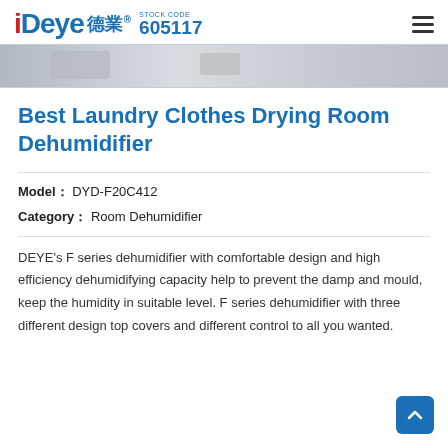Deye 德業® STOCK CODE 605117
[Figure (photo): Partial hero banner image strip showing blurred product or room imagery in grey tones]
Best Laundry Clothes Drying Room Dehumidifier
Model： DYD-F20C412
Category： Room Dehumidifier
DEYE's F series dehumidifier with comfortable design and high efficiency dehumidifying capacity help to prevent the damp and mould, keep the humidity in suitable level. F series dehumidifier with three different design top covers and different control to all you wanted.